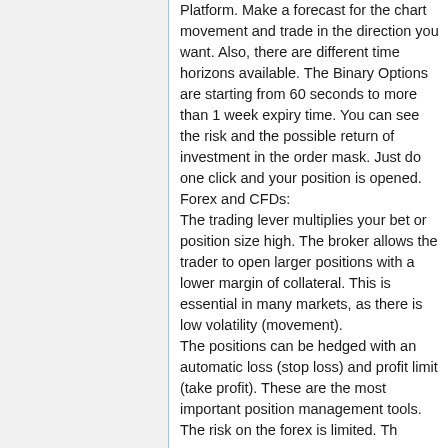Platform. Make a forecast for the chart movement and trade in the direction you want. Also, there are different time horizons available. The Binary Options are starting from 60 seconds to more than 1 week expiry time. You can see the risk and the possible return of investment in the order mask. Just do one click and your position is opened. Forex and CFDs: The trading lever multiplies your bet or position size high. The broker allows the trader to open larger positions with a lower margin of collateral. This is essential in many markets, as there is low volatility (movement). The positions can be hedged with an automatic loss (stop loss) and profit limit (take profit). These are the most important position management tools. The risk on the forex is limited. The